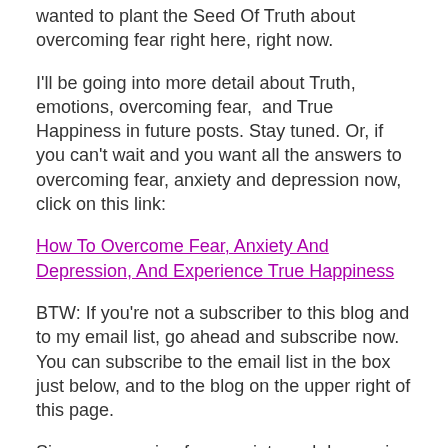wanted to plant the Seed Of Truth about overcoming fear right here, right now.
I'll be going into more detail about Truth, emotions, overcoming fear,  and True Happiness in future posts. Stay tuned. Or, if you can't wait and you want all the answers to overcoming fear, anxiety and depression now, click on this link:
How To Overcome Fear, Anxiety And Depression, And Experience True Happiness
BTW: If you're not a subscriber to this blog and to my email list, go ahead and subscribe now. You can subscribe to the email list in the box just below, and to the blog on the upper right of this page.
Since overcoming fear, anxiety and depression is such an important topic, and since what I just shared above is rarely discussed,  please share this post about overcoming fear, anxiety treatment, and depression treatment in all the ways available to you, including using